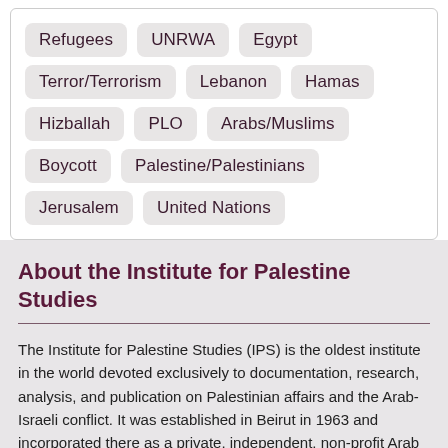Refugees | UNRWA | Egypt | Terror/Terrorism | Lebanon | Hamas | Hizballah | PLO | Arabs/Muslims | Boycott | Palestine/Palestinians | Jerusalem | United Nations
About the Institute for Palestine Studies
The Institute for Palestine Studies (IPS) is the oldest institute in the world devoted exclusively to documentation, research, analysis, and publication on Palestinian affairs and the Arab-Israeli conflict. It was established in Beirut in 1963 and incorporated there as a private, independent, non-profit Arab institute unaffiliated with any political organization